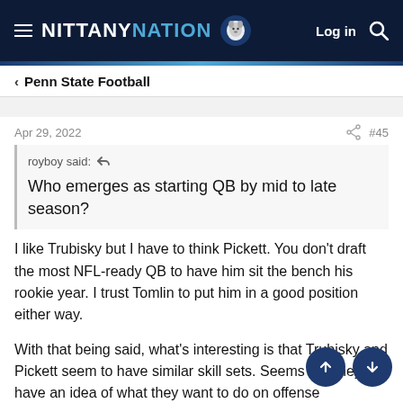NITTANY NATION — Log in
Penn State Football
Apr 29, 2022   #45
royboy said: ↩  Who emerges as starting QB by mid to late season?
I like Trubisky but I have to think Pickett. You don't draft the most NFL-ready QB to have him sit the bench his rookie year. I trust Tomlin to put him in a good position either way.
With that being said, what's interesting is that Trubisky and Pickett seem to have similar skill sets. Seems like they have an idea of what they want to do on offense regardless